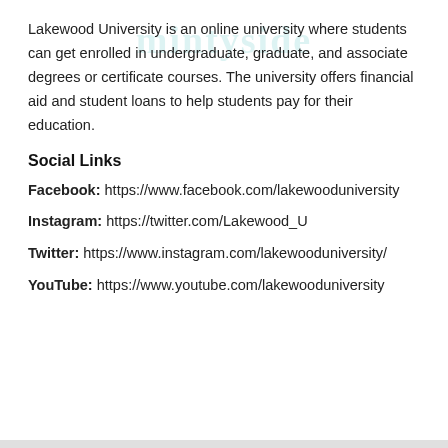Lakewood University is an online university where students can get enrolled in undergraduate, graduate, and associate degrees or certificate courses. The university offers financial aid and student loans to help students pay for their education.
Social Links
Facebook: https://www.facebook.com/lakewooduniversity
Instagram: https://twitter.com/Lakewood_U
Twitter: https://www.instagram.com/lakewooduniversity/
YouTube: https://www.youtube.com/lakewooduniversity